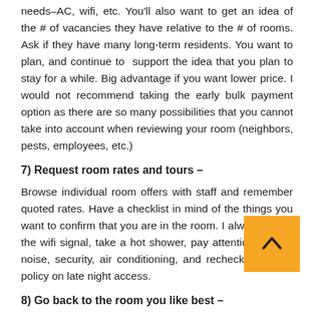needs–AC, wifi, etc. You'll also want to get an idea of the # of vacancies they have relative to the # of rooms. Ask if they have many long-term residents. You want to plan, and continue to support the idea that you plan to stay for a while. Big advantage if you want lower price. I would not recommend taking the early bulk payment option as there are so many possibilities that you cannot take into account when reviewing your room (neighbors, pests, employees, etc.)
7) Request room rates and tours –
Browse individual room offers with staff and remember quoted rates. Have a checklist in mind of the things you want to confirm that you are in the room. I always check the wifi signal, take a hot shower, pay attention to road noise, security, air conditioning, and recheck the hotel policy on late night access.
8) Go back to the room you like best –
Let them know you are on business and have plans to